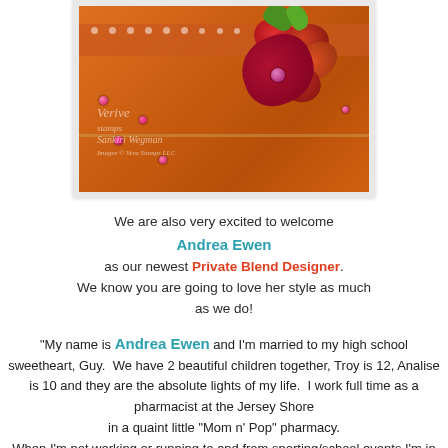[Figure (photo): Orange decorative craft bag/purse with polka dot ribbon, large red/orange flower embellishment, pink gems, and a watermark reading 'Verive stamps Sankiri Wegman']
We are also very excited to welcome
Andrea Ewen
as our newest Private Blend Designer.
We know you are going to love her style as much
as we do!
"My name is Andrea Ewen and I'm married to my high school sweetheart, Guy.  We have 2 beautiful children together, Troy is 12, Analise is 10 and they are the absolute lights of my life.  I work full time as a pharmacist at the Jersey Shore
in a quaint little "Mom n' Pop" pharmacy.
When I'm not working or running to and from sporting/school events I'm in